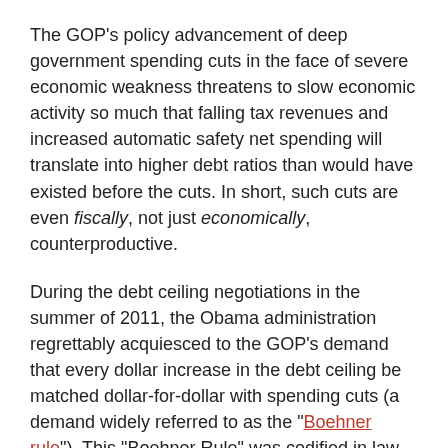The GOP's policy advancement of deep government spending cuts in the face of severe economic weakness threatens to slow economic activity so much that falling tax revenues and increased automatic safety net spending will translate into higher debt ratios than would have existed before the cuts. In short, such cuts are even fiscally, not just economically, counterproductive.
During the debt ceiling negotiations in the summer of 2011, the Obama administration regrettably acquiesced to the GOP's demand that every dollar increase in the debt ceiling be matched dollar-for-dollar with spending cuts (a demand widely referred to as the "Boehner rule"). This "Boehner Rule" was codified in law with the 11th hour enactment of the BCA on Aug. 2 (the last day Treasury could avoid defaulting).
The BCA had two phases. The first phase was almost